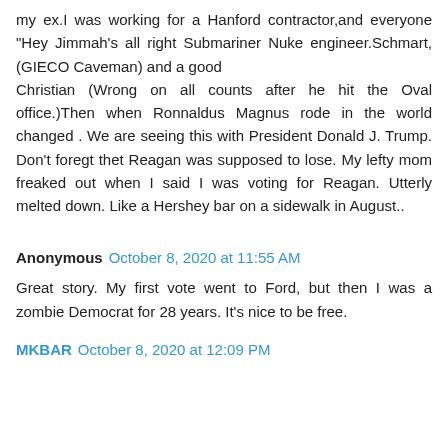my ex.I was working for a Hanford contractor,and everyone "Hey Jimmah's all right Submariner Nuke engineer.Schmart,(GIECO Caveman) and a good Christian (Wrong on all counts after he hit the Oval office.)Then when Ronnaldus Magnus rode in the world changed . We are seeing this with President Donald J. Trump. Don't foregt thet Reagan was supposed to lose. My lefty mom freaked out when I said I was voting for Reagan. Utterly melted down. Like a Hershey bar on a sidewalk in August..
Anonymous  October 8, 2020 at 11:55 AM
Great story. My first vote went to Ford, but then I was a zombie Democrat for 28 years. It's nice to be free.
MKBAR  October 8, 2020 at 12:09 PM